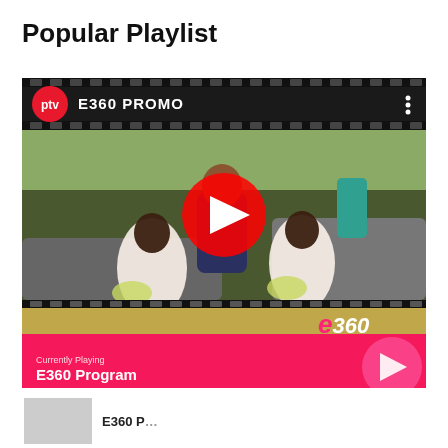Popular Playlist
[Figure (screenshot): Video player showing E360 PROMO with PTV logo, wedding scene thumbnail with YouTube-style play button, film strip borders, and e360 branding. Currently Playing bar shows E360 Program in pink.]
Currently Playing
E360 Program
[Figure (screenshot): Thumbnail for next playlist item with partial title E360 P...]